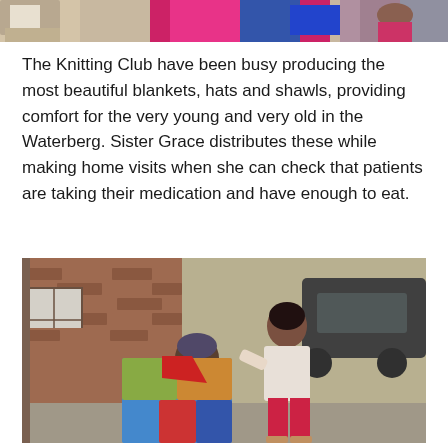[Figure (photo): Partial top image showing people in colorful clothing, cropped at top of page]
The Knitting Club have been busy producing the most beautiful blankets, hats and shawls, providing comfort for the very young and very old in the Waterberg. Sister Grace distributes these while making home visits when she can check that patients are taking their medication and have enough to eat.
[Figure (photo): Photo of a healthcare worker in red pants leaning over an elderly person seated outdoors against a brick wall, covering them with a colorful patchwork knitted blanket]